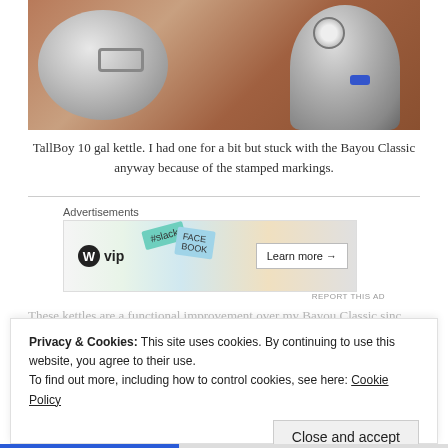[Figure (photo): Stainless steel TallBoy 10 gallon brew kettle lid and kettle body with pressure gauge and blue ball valve, resting on a brown granite countertop.]
TallBoy 10 gal kettle. I had one for a bit but stuck with the Bayou Classic anyway because of the stamped markings.
Advertisements
[Figure (screenshot): Advertisement banner for WordPress VIP featuring #slack, FACEBOOK tags and a 'Learn more' button.]
REPORT THIS AD
These kettles are a functional improvement over my Bayou Classic since...
Privacy & Cookies: This site uses cookies. By continuing to use this website, you agree to their use.
To find out more, including how to control cookies, see here: Cookie Policy
Close and accept